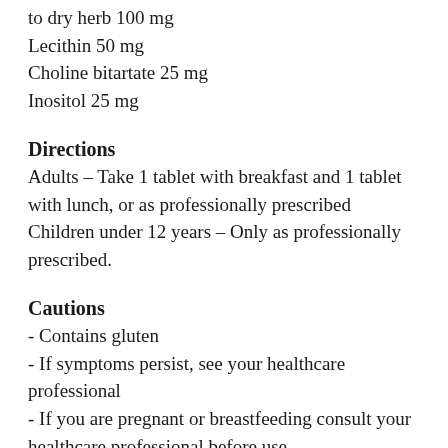to dry herb 100 mg
Lecithin 50 mg
Choline bitartate 25 mg
Inositol 25 mg
Directions
Adults – Take 1 tablet with breakfast and 1 tablet with lunch, or as professionally prescribed
Children under 12 years – Only as professionally prescribed.
Cautions
- Contains gluten
- If symptoms persist, see your healthcare professional
- If you are pregnant or breastfeeding consult your healthcare professional before use